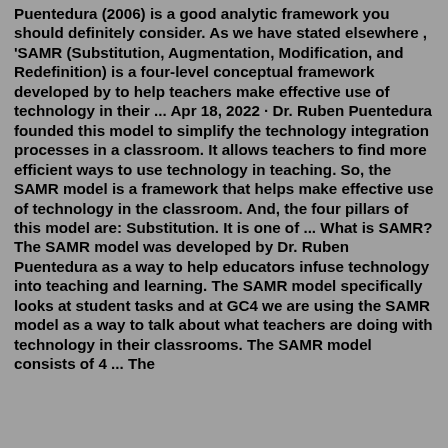Puentedura (2006) is a good analytic framework you should definitely consider. As we have stated elsewhere , 'SAMR (Substitution, Augmentation, Modification, and Redefinition) is a four-level conceptual framework developed by to help teachers make effective use of technology in their ... Apr 18, 2022 · Dr. Ruben Puentedura founded this model to simplify the technology integration processes in a classroom. It allows teachers to find more efficient ways to use technology in teaching. So, the SAMR model is a framework that helps make effective use of technology in the classroom. And, the four pillars of this model are: Substitution. It is one of ... What is SAMR? The SAMR model was developed by Dr. Ruben Puentedura as a way to help educators infuse technology into teaching and learning. The SAMR model specifically looks at student tasks and at GC4 we are using the SAMR model as a way to talk about what teachers are doing with technology in their classrooms. The SAMR model consists of 4 ... The